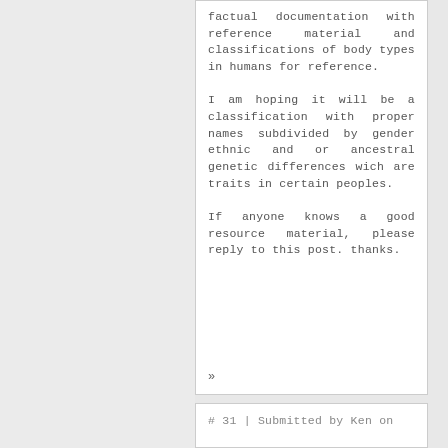factual documentation with reference material and classifications of body types in humans for reference.
I am hoping it will be a classification with proper names subdivided by gender ethnic and or ancestral genetic differences wich are traits in certain peoples.
If anyone knows a good resource material, please reply to this post. thanks.
»
# 31 | Submitted by Ken on